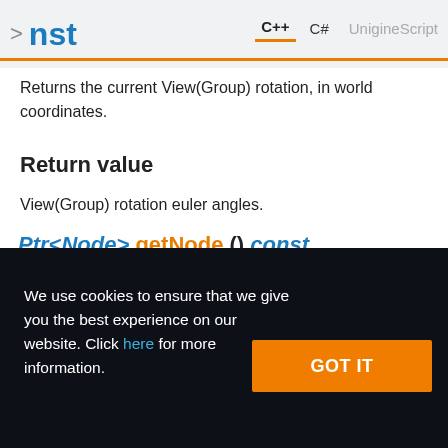nst  C++  C#  UnigineScript
Returns the current View(Group) rotation, in world coordinates.
Return value
View(Group) rotation euler angles.
Ptr<Node> getNode () const
We use cookies to ensure that we give you the best experience on our website. Click here for more information.